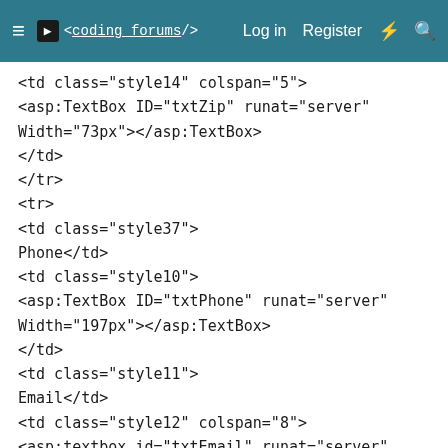≡  <coding forums/>   Log in   Register   ⚡   🔍
<td class="style14" colspan="5">
<asp:TextBox ID="txtZip" runat="server"
Width="73px"></asp:TextBox>
</td>
</tr>
<tr>
<td class="style37">
Phone</td>
<td class="style10">
<asp:TextBox ID="txtPhone" runat="server"
Width="197px"></asp:TextBox>
</td>
<td class="style11">
Email</td>
<td class="style12" colspan="8">
<asp:textbox id="txtEmail" runat="server"
Width="205px"></asp:textbox></td>
</tr>
<tr>